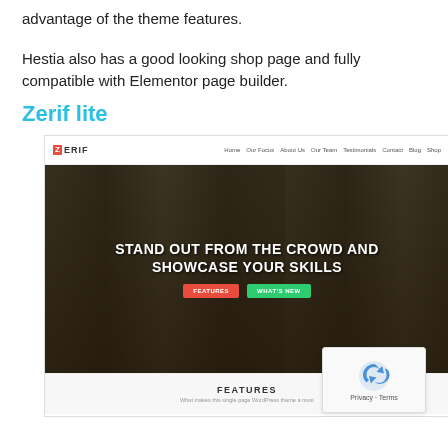advantage of the theme features.
Hestia also has a good looking shop page and fully compatible with Elementor page builder.
Zerif lite
[Figure (screenshot): Screenshot of the Zerif lite WordPress theme showing a navbar with ZERIF logo and navigation links (Home, Our Focus, About Us, Our Team, Testimonials, Contact, Blog, Shop), followed by a dark hero image of a city canal with text 'STAND OUT FROM THE CROWD AND SHOWCASE YOUR SKILLS' and two buttons labeled FEATURES and WHAT'S NEW, followed by a FEATURES section below.]